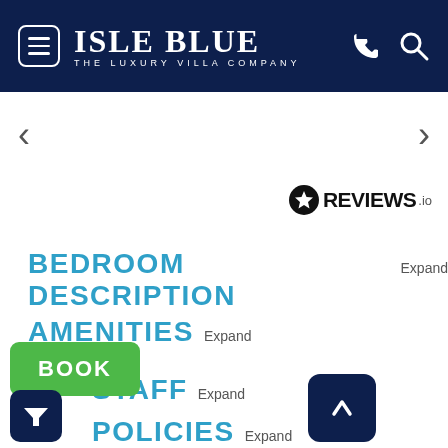ISLE BLUE — THE LUXURY VILLA COMPANY
[Figure (screenshot): Navigation arrows left and right for image carousel]
[Figure (logo): REVIEWS.io badge with star icon]
BEDROOM DESCRIPTION Expand
AMENITIES Expand
STAFF Expand
POLICIES Expand
[Figure (other): BOOK green button, filter icon button (dark navy), and up-arrow button (dark navy)]